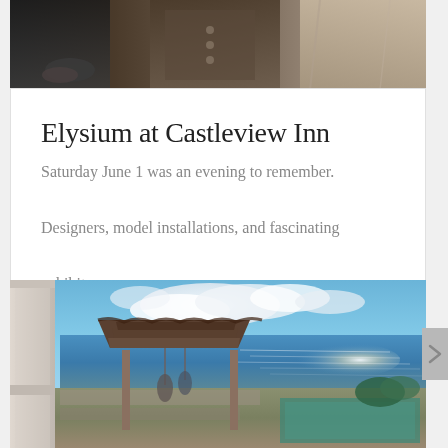[Figure (photo): Partial view of people in costumes or fashion garments, cropped at the top of the card]
Elysium at Castleview Inn
Saturday June 1 was an evening to remember. Designers, model installations, and fascinating exhibits…
[Figure (photo): Outdoor coastal scene with a thatched palapa hut, white column in foreground, ocean with sunlight reflection, blue sky with clouds, and a pool area in the lower right]